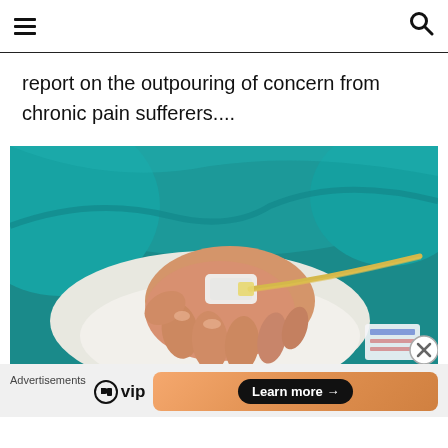☰  [menu icon] | [search icon]
report on the outpouring of concern from chronic pain sufferers....
[Figure (photo): Close-up photograph of a patient's hand with an IV cannula inserted, wearing a teal/turquoise surgical gown, with medical tubing visible]
Advertisements  [WordPress VIP logo]  [Learn more →]